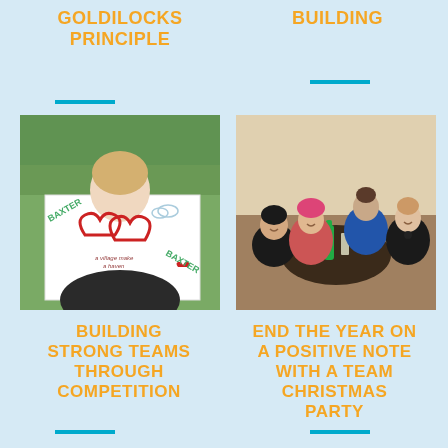GOLDILOCKS PRINCIPLE
BUILDING
[Figure (photo): Woman holding a large white poster with two overlapping hearts drawn in red marker, with text and decorations. Outdoor background with trees.]
[Figure (photo): Four people sitting around a round table at a social gathering, smiling at the camera. There are drinks on the table.]
BUILDING STRONG TEAMS THROUGH COMPETITION
END THE YEAR ON A POSITIVE NOTE WITH A TEAM CHRISTMAS PARTY